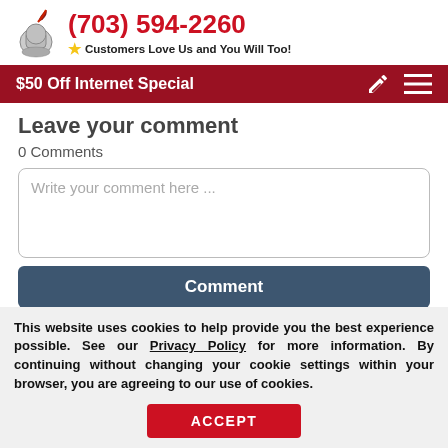(703) 594-2260 — Customers Love Us and You Will Too!
$50 Off Internet Special
Leave your comment
0 Comments
Write your comment here ...
Comment
This website uses cookies to help provide you the best experience possible. See our Privacy Policy for more information. By continuing without changing your cookie settings within your browser, you are agreeing to our use of cookies.
ACCEPT